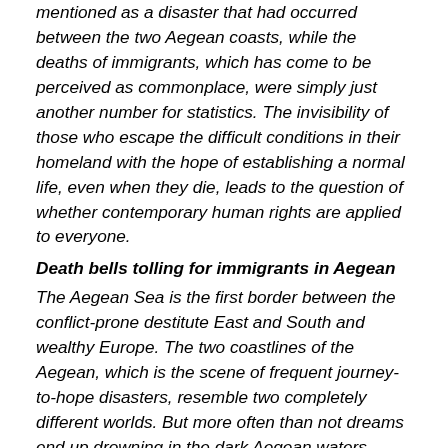mentioned as a disaster that had occurred between the two Aegean coasts, while the deaths of immigrants, which has come to be perceived as commonplace, were simply just another number for statistics. The invisibility of those who escape the difficult conditions in their homeland with the hope of establishing a normal life, even when they die, leads to the question of whether contemporary human rights are applied to everyone.
Death bells tolling for immigrants in Aegean
The Aegean Sea is the first border between the conflict-prone destitute East and South and wealthy Europe. The two coastlines of the Aegean, which is the scene of frequent journey-to-hope disasters, resemble two completely different worlds. But more often than not dreams end up drowning in the dark Aegean waters before passengers are able to reach the other world. The biggest